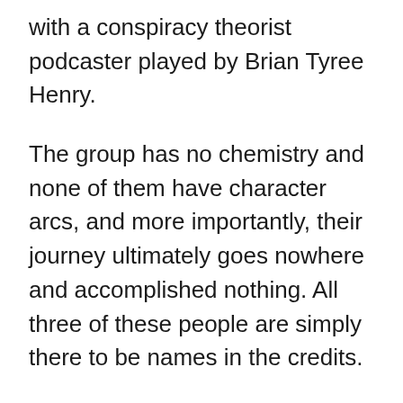with a conspiracy theorist podcaster played by Brian Tyree Henry.
The group has no chemistry and none of them have character arcs, and more importantly, their journey ultimately goes nowhere and accomplished nothing. All three of these people are simply there to be names in the credits.
But even with these characters lifting out of the film with no consequence, I think the film has just about the right ratio of human scenes to big, fun monster fights.